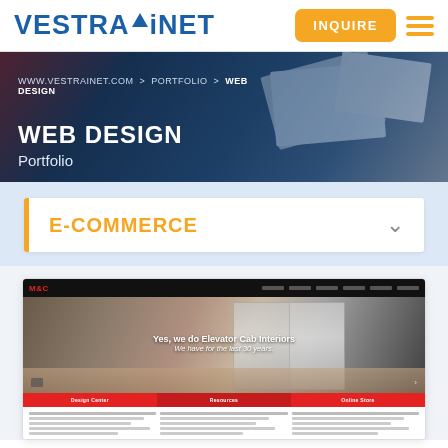VESTRA iNET
[Figure (screenshot): Hero banner showing web design portfolio mockups in the background, with breadcrumb navigation and title overlay]
WWW.VESTRAINET.COM > PORTFOLIO > WEB DESIGN
WEB DESIGN
Portfolio
E-COMMERCE
[Figure (screenshot): Screenshot of a website showing elevator cab interiors with the text 'Yes, we do Elevator Cab Interiors - We have for the last 30 years.' and red navigation buttons: Design Center, Resources, Online Store]